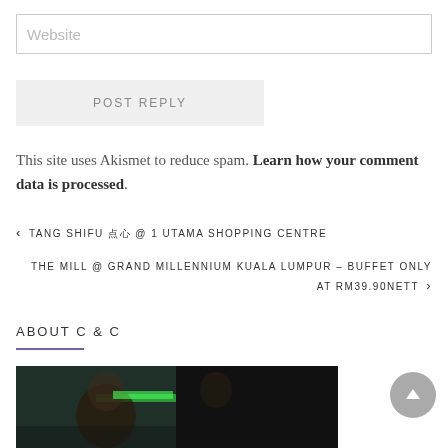Website
POST REPLY
This site uses Akismet to reduce spam. Learn how your comment data is processed.
◀ TANG SHIFU 点心 @ 1 UTAMA SHOPPING CENTRE
THE MILL @ GRAND MILLENNIUM KUALA LUMPUR – BUFFET ONLY AT RM39.90NETT ▶
ABOUT C & C
[Figure (photo): Photo of two people, dark background with green lighting element]